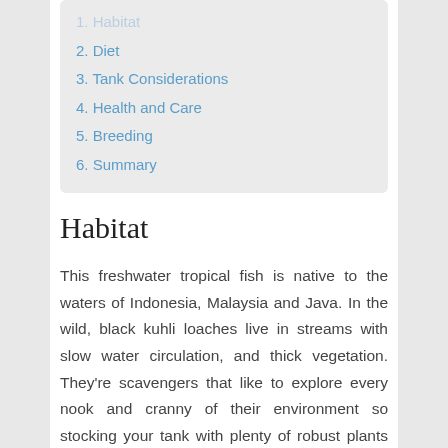1. Habitat
2. Diet
3. Tank Considerations
4. Health and Care
5. Breeding
6. Summary
Habitat
This freshwater tropical fish is native to the waters of Indonesia, Malaysia and Java. In the wild, black kuhli loaches live in streams with slow water circulation, and thick vegetation. They’re scavengers that like to explore every nook and cranny of their environment so stocking your tank with plenty of robust plants and “caves” to explore will make these fish comfortable by giving them ample places to hide and forage.